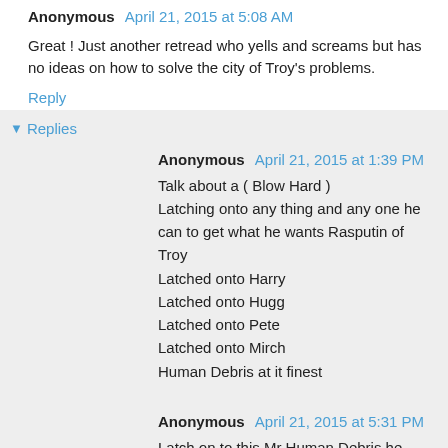Anonymous April 21, 2015 at 5:08 AM
Great ! Just another retread who yells and screams but has no ideas on how to solve the city of Troy's problems.
Reply
Replies
Anonymous April 21, 2015 at 1:39 PM
Talk about a ( Blow Hard )
Latching onto any thing and any one he can to get what he wants Rasputin of Troy
Latched onto Harry
Latched onto Hugg
Latched onto Pete
Latched onto Mirch
Human Debris at it finest
Anonymous April 21, 2015 at 5:31 PM
Latch on to this Mr Human Debris he wins by 25 percent. That's a fact Jack.